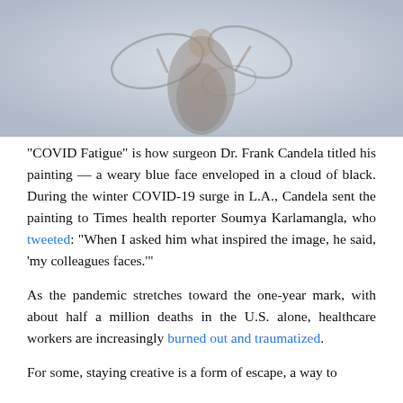[Figure (photo): A person in a patterned dress holding large circular hoops, photographed from above against a light blue/grey background. The image depicts motion and is used as an illustration for an article about COVID fatigue and creative escape for healthcare workers.]
“COVID Fatigue” is how surgeon Dr. Frank Candela titled his painting — a weary blue face enveloped in a cloud of black. During the winter COVID-19 surge in L.A., Candela sent the painting to Times health reporter Soumya Karlamangla, who tweeted: “When I asked him what inspired the image, he said, ‘my colleagues faces.’”
As the pandemic stretches toward the one-year mark, with about half a million deaths in the U.S. alone, healthcare workers are increasingly burned out and traumatized.
For some, staying creative is a form of escape, a way to